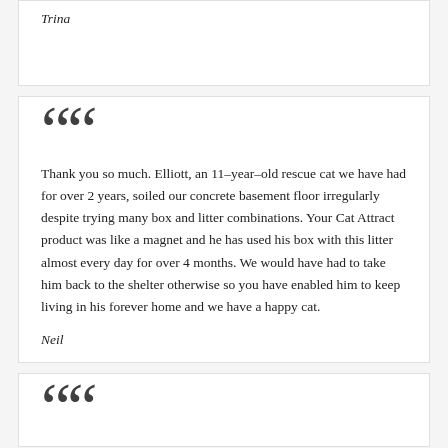Trina
Thank you so much. Elliott, an 11-year-old rescue cat we have had for over 2 years, soiled our concrete basement floor irregularly despite trying many box and litter combinations. Your Cat Attract product was like a magnet and he has used his box with this litter almost every day for over 4 months. We would have had to take him back to the shelter otherwise so you have enabled him to keep living in his forever home and we have a happy cat.
Neil